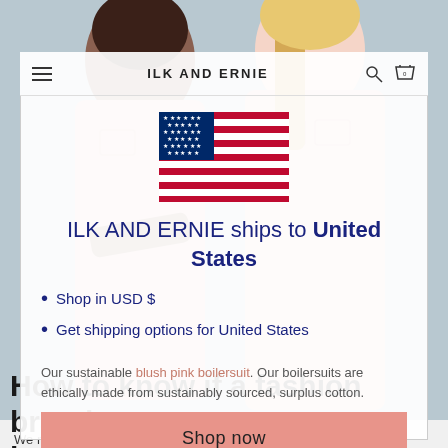ILK AND ERNIE
[Figure (photo): Two women wearing blush pink boilersuits standing together against a light blue-grey background]
[Figure (illustration): US flag emoji / illustration]
ILK AND ERNIE ships to United States
Shop in USD $
Get shipping options for United States
Our sustainable blush pink boilersuit. Our boilersuits are ethically made from sustainably sourced, surplus cotton.
Shop now
Change shipping country
How to know if a fashion brand is truly sustainable
We must all do our best to avoid fashion brands who are